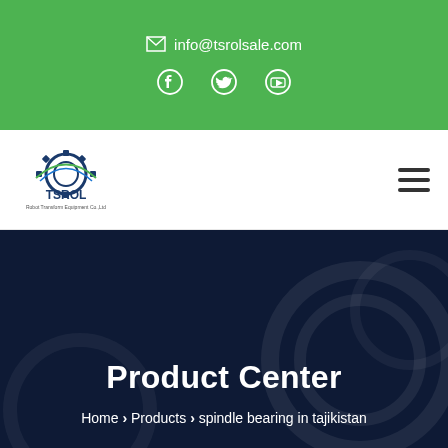✉ info@tsrolsale.com
[Figure (logo): TSROL logo with gear icon and company name]
Product Center
Home > Products > spindle bearing in tajikistan